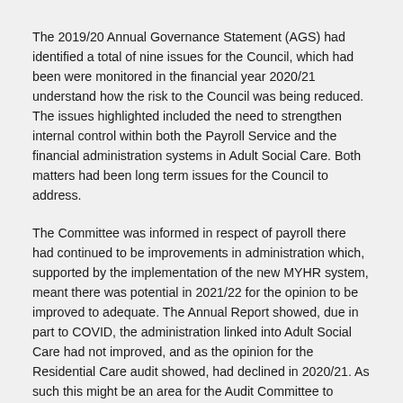The 2019/20 Annual Governance Statement (AGS) had identified a total of nine issues for the Council, which had been were monitored in the financial year 2020/21 understand how the risk to the Council was being reduced. The issues highlighted included the need to strengthen internal control within both the Payroll Service and the financial administration systems in Adult Social Care. Both matters had been long term issues for the Council to address.
The Committee was informed in respect of payroll there had continued to be improvements in administration which, supported by the implementation of the new MYHR system, meant there was potential in 2021/22 for the opinion to be improved to adequate. The Annual Report showed, due in part to COVID, the administration linked into Adult Social Care had not improved, and as the opinion for the Residential Care audit showed, had declined in 2020/21. As such this might be an area for the Audit Committee to request be subject to a future report when the annual work programme was prepared for the September meeting.